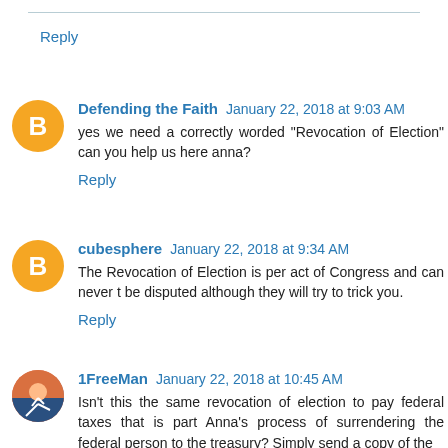Reply
Defending the Faith  January 22, 2018 at 9:03 AM
yes we need a correctly worded "Revocation of Election" can you help us here anna?
Reply
cubesphere  January 22, 2018 at 9:34 AM
The Revocation of Election is per act of Congress and can never t be disputed although they will try to trick you.
Reply
1FreeMan  January 22, 2018 at 10:45 AM
Isn't this the same revocation of election to pay federal taxes that is part Anna's process of surrendering the federal person to the treasury? Simply send a copy of the